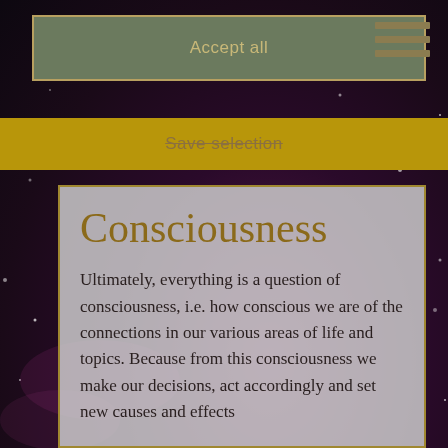Accept all
Save selection
Consciousness
Ultimately, everything is a question of consciousness, i.e. how conscious we are of the connections in our various areas of life and topics. Because from this consciousness we make our decisions, act accordingly and set new causes and effects